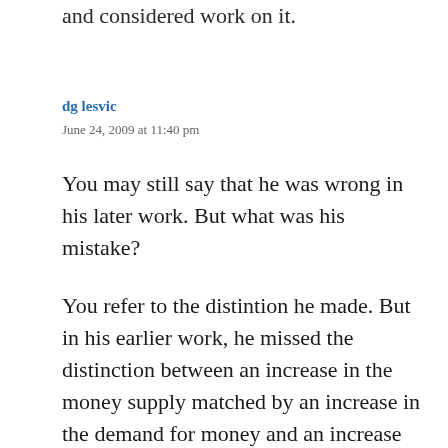and considered work on it.
dg lesvic
June 24, 2009 at 11:40 pm
You may still say that he was wrong in his later work. But what was his mistake?
You refer to the distintion he made. But in his earlier work, he missed the distinction between an increase in the money supply matched by an increase in the demand for money and an increase in the one not matched by an increase in the other.